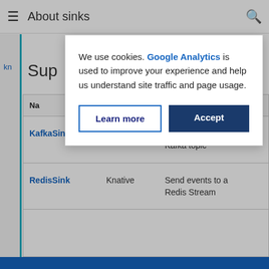About sinks
Sup...
| Na... |  |  |
| --- | --- | --- |
| KafkaSink | Knative | Send events to a Kafka topic |
| RedisSink | Knative | Send events to a Redis Stream |
We use cookies. Google Analytics is used to improve your experience and help us understand site traffic and page usage.
Learn more | Accept